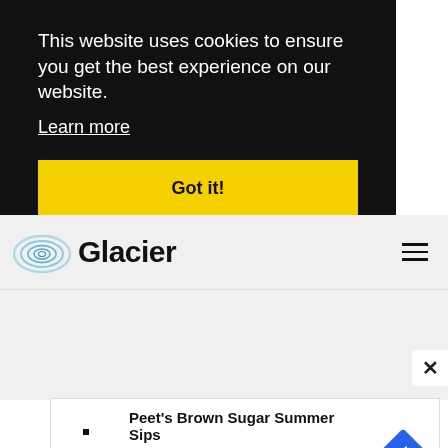This website uses cookies to ensure you get the best experience on our website.
Learn more
Got it!
[Figure (logo): Glacier website logo with spiral/swirl icon and bold 'Glacier' wordmark]
[Figure (screenshot): Advertisement: Peet's Brown Sugar Summer Sips by Peet's Coffee with navigation diamond icon]
×